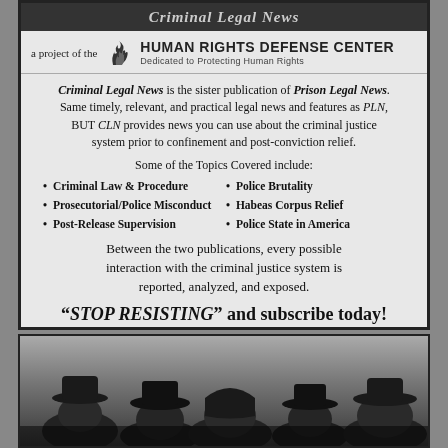Criminal Legal News — a project of the HUMAN RIGHTS DEFENSE CENTER — Dedicated to Protecting Human Rights
Criminal Legal News is the sister publication of Prison Legal News. Same timely, relevant, and practical legal news and features as PLN, BUT CLN provides news you can use about the criminal justice system prior to confinement and post-conviction relief.
Some of the Topics Covered include:
Criminal Law & Procedure
Police Brutality
Prosecutorial/Police Misconduct
Habeas Corpus Relief
Post-Release Supervision
Police State in America
Between the two publications, every possible interaction with the criminal justice system is reported, analyzed, and exposed.
"STOP RESISTING" and subscribe today!
[Figure (photo): Grayscale photo of people wearing hats, viewed from behind, dark atmospheric image]